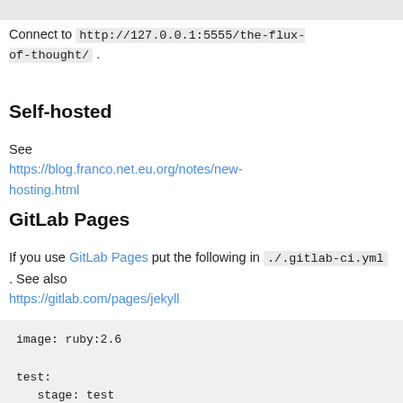Connect to http://127.0.0.1:5555/the-flux-of-thought/ .
Self-hosted
See https://blog.franco.net.eu.org/notes/new-hosting.html
GitLab Pages
If you use GitLab Pages put the following in ./.gitlab-ci.yml . See also https://gitlab.com/pages/jekyll
image: ruby:2.6

test:
  stage: test